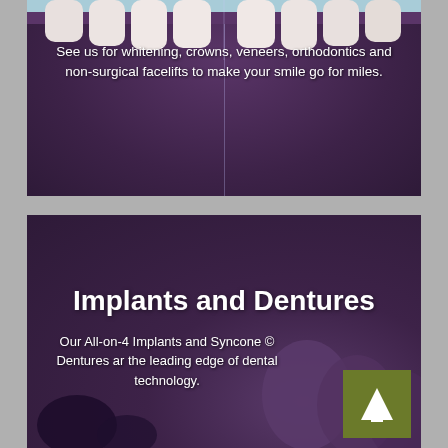[Figure (photo): Close-up purple-toned rendering of teeth/gums with a vertical divider line, slight sky-blue gradient at top edge]
See us for whitening, crowns, veneers, orthodontics and non-surgical facelifts to make your smile go for miles.
[Figure (photo): Purple-toned dental implant and teeth rendering background image, lower section of a dental website]
Implants and Dentures
Our All-on-4 Implants and Syncone © Dentures ar the leading edge of dental technology.